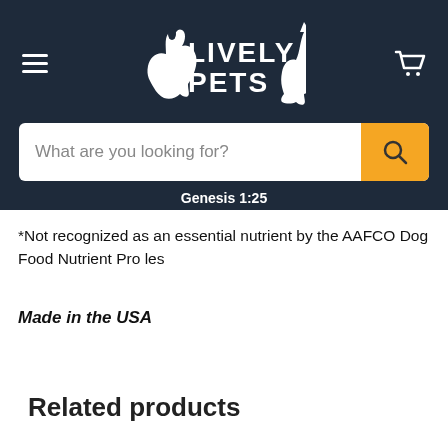[Figure (logo): Lively Pets logo with dog and cat silhouettes on dark navy background]
What are you looking for?
Genesis 1:25
*Not recognized as an essential nutrient by the AAFCO Dog Food Nutrient Pro les
Made in the USA
Related products